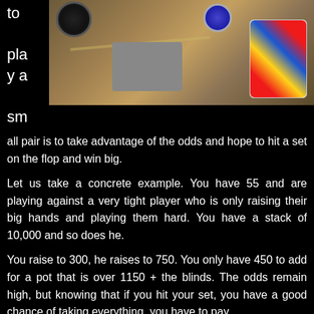[Figure (photo): Photo of a poker table with playing cards (face cards visible), a gray card deck, and poker chips on a wooden surface.]
to play a small pair is to take advantage of the odds and hope to hit a set on the flop and win big.
Let us take a concrete example. You have 55 and are playing against a very tight player who is only raising their big hands and playing them hard. You have a stack of 10,000 and so does he.
You raise to 300, he raises to 750. You only have 450 to add for a pot that is over 1150 + the blinds. The odds remain high, but knowing that if you hit your set, you have a good chance of taking everything, you have to pay.